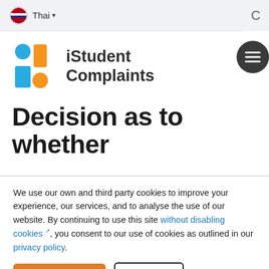Thai
[Figure (logo): iStudent Complaints logo with blue circle, orange rectangle, blue rectangle, and orange circle arranged in an i-shape with exclamation mark]
iStudent Complaints
Decision as to whether
We use our own and third party cookies to improve your experience, our services, and to analyse the use of our website. By continuing to use this site without disabling cookies, you consent to our use of cookies as outlined in our privacy policy.
OK, I agree  Decline